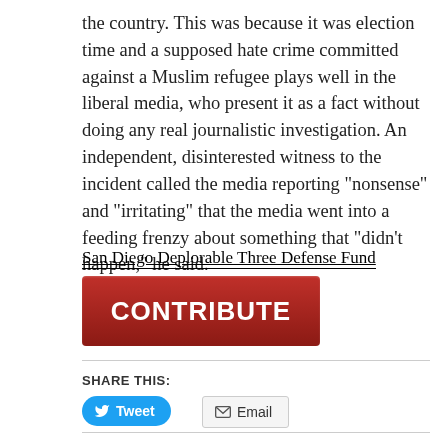the country. This was because it was election time and a supposed hate crime committed against a Muslim refugee plays well in the liberal media, who present it as a fact without doing any real journalistic investigation. An independent, disinterested witness to the incident called the media reporting “nonsense” and “irritating” that the media went into a feeding frenzy about something that “didn’t happen,” he said.
San Diego Deplorable Three Defense Fund
[Figure (other): Red CONTRIBUTE button for donation]
SHARE THIS:
[Figure (other): Tweet button]
[Figure (other): Email button]